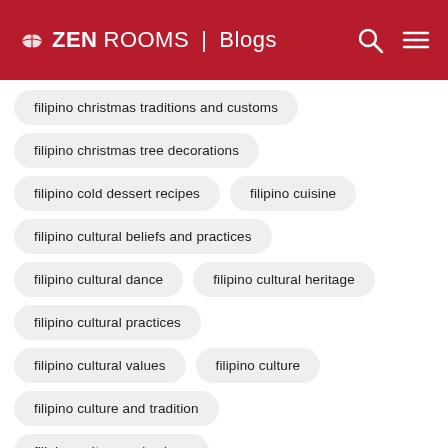ZEN ROOMS | Blogs
filipino christmas traditions and customs
filipino christmas tree decorations
filipino cold dessert recipes
filipino cuisine
filipino cultural beliefs and practices
filipino cultural dance
filipino cultural heritage
filipino cultural practices
filipino cultural values
filipino culture
filipino culture and tradition
filipino culture and values